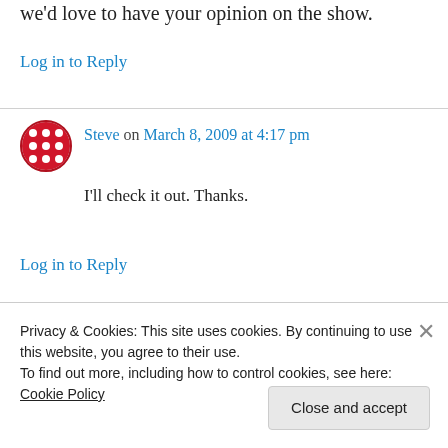we'd love to have your opinion on the show.
Log in to Reply
Steve on March 8, 2009 at 4:17 pm
I'll check it out. Thanks.
Log in to Reply
[Figure (screenshot): App promotion banner showing 'the go.' text and 'GET THE APP' with WordPress logo]
Privacy & Cookies: This site uses cookies. By continuing to use this website, you agree to their use. To find out more, including how to control cookies, see here: Cookie Policy
Close and accept